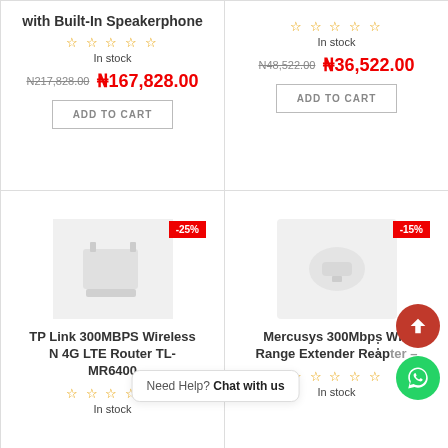with Built-In Speakerphone
★★★★★ (stars) In stock
N217,828.00 ₦167,828.00
ADD TO CART
★★★★★ (stars) In stock
N48,522.00 ₦36,522.00
ADD TO CART
[Figure (photo): TP Link 300MBPS router product image placeholder with -25% badge]
TP Link 300MBPS Wireless N 4G LTE Router TL-MR6400
★★★★★ (stars) In stock
[Figure (photo): Mercusys 300Mbps WiFi Range Extender product image placeholder with -15% badge]
Mercusys 300Mbps Wifi Range Extender Reapter –
★★★★★ (stars) In stock
Need Help? Chat with us